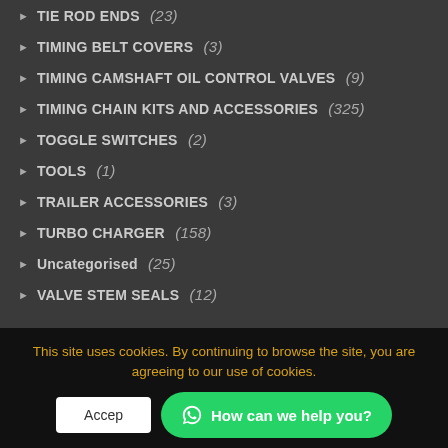TIE ROD ENDS (23)
TIMING BELT COVERS (3)
TIMING CAMSHAFT OIL CONTROL VALVES (9)
TIMING CHAIN KITS AND ACCESSORIES (325)
TOGGLE SWITCHES (2)
TOOLS (1)
TRAILER ACCESSORIES (3)
TURBO CHARGER (158)
Uncategorised (25)
VALVE STEM SEALS (12)
This site uses cookies. By continuing to browse the site, you are agreeing to our use of cookies.
Accept  How can we help you?